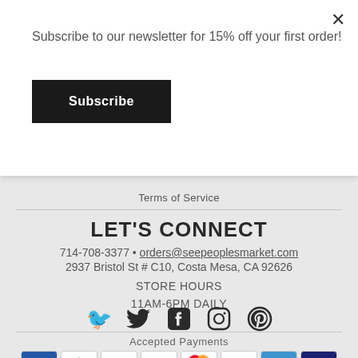Subscribe to our newsletter for 15% off your first order!
Subscribe
Terms of Service
LET'S CONNECT
714-708-3377 • orders@seepeoplesmarket.com
2937 Bristol St # C10, Costa Mesa, CA 92626
STORE HOURS
11AM-6PM DAILY
[Figure (illustration): Social media icons: Twitter, Facebook, Instagram, Pinterest]
Accepted Payments
[Figure (illustration): Payment method icons: Amex, Apple Pay, Discover, Meta, Mastercard, PayPal, Venmo, Visa]